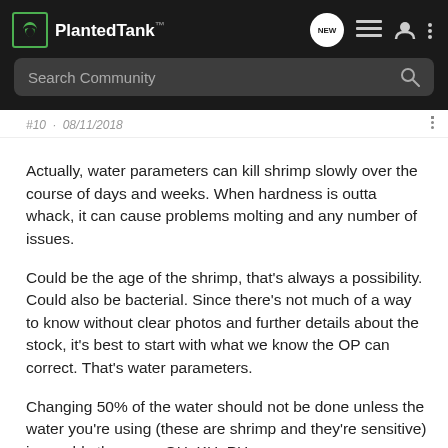PlantedTank
#10 · 08/11/2018
Actually, water parameters can kill shrimp slowly over the course of days and weeks. When hardness is outta whack, it can cause problems molting and any number of issues.
Could be the age of the shrimp, that's always a possibility. Could also be bacterial. Since there's not much of a way to know without clear photos and further details about the stock, it's best to start with what we know the OP can correct. That's water parameters.
Changing 50% of the water should not be done unless the water you're using (these are shrimp and they're sensitive) is roughly the same GH, KH, PH.